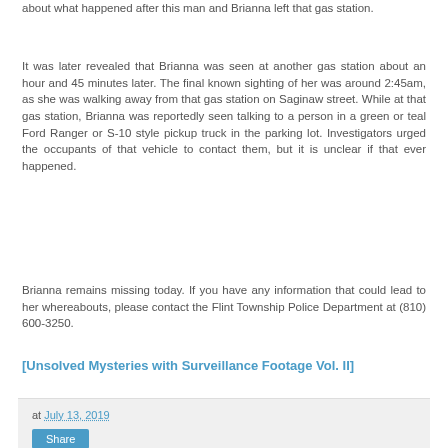about what happened after this man and Brianna left that gas station.
It was later revealed that Brianna was seen at another gas station about an hour and 45 minutes later. The final known sighting of her was around 2:45am, as she was walking away from that gas station on Saginaw street. While at that gas station, Brianna was reportedly seen talking to a person in a green or teal Ford Ranger or S-10 style pickup truck in the parking lot. Investigators urged the occupants of that vehicle to contact them, but it is unclear if that ever happened.
Brianna remains missing today. If you have any information that could lead to her whereabouts, please contact the Flint Township Police Department at (810) 600-3250.
[Unsolved Mysteries with Surveillance Footage Vol. II]
at July 13, 2019